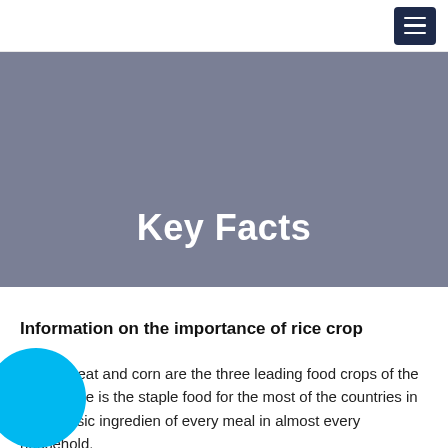Key Facts
Information on the importance of rice crop
Rice, wheat and corn are the three leading food crops of the world. Rice is the staple food for the most of the countries in is the basic ingredien of every meal in almost every household.